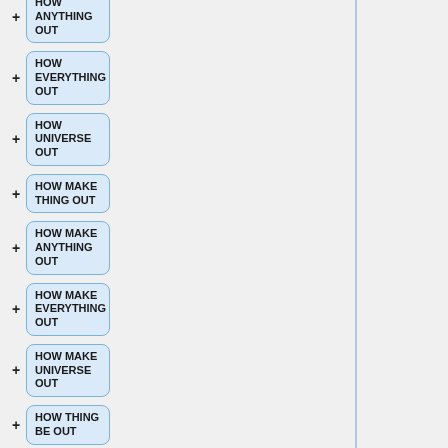[Figure (flowchart): A vertical list of rounded rectangular nodes on the right side of the page, each with a '+' connector on the left. Nodes contain bold text: 'HOW ANYTHING OUT', 'HOW EVERYTHING OUT', 'HOW UNIVERSE OUT', 'HOW MAKE THING OUT', 'HOW MAKE ANYTHING OUT', 'HOW MAKE EVERYTHING OUT', 'HOW MAKE UNIVERSE OUT', 'HOW THING BE OUT'. Left panel is light gray with a vertical blue line separator.]